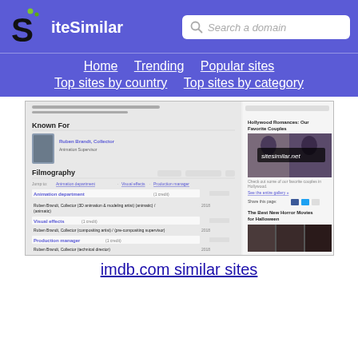SiteSimilar — Search a domain
[Figure (screenshot): Navigation bar with links: Home, Trending, Popular sites, Top sites by country, Top sites by category on purple background]
[Figure (screenshot): Screenshot of imdb.com page showing Known For section with Ruben Brandt Collector, Filmography section with Animation department, Visual effects, Production manager entries, and a sidebar with Hollywood Romances and Best New Horror Movies articles]
imdb.com similar sites